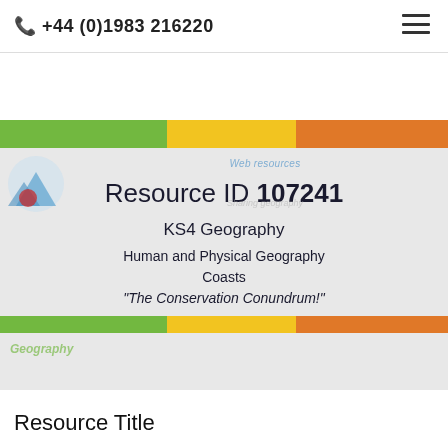📞 +44 (0)1983 216220
[Figure (screenshot): Educational resource card showing Resource ID 107241, KS4 Geography, Human and Physical Geography, Coasts, 'The Conservation Conundrum!' with colored bars (green, yellow, orange) and a logo on the left.]
Resource Title